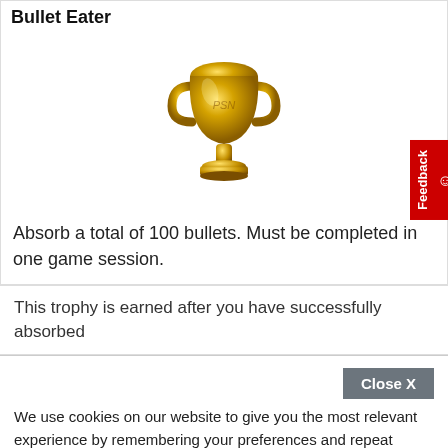Bullet Eater
[Figure (illustration): Gold trophy cup icon representing a PlayStation-style gold trophy award]
Absorb a total of 100 bullets. Must be completed in one game session.
This trophy is earned after you have successfully absorbed
We use cookies on our website to give you the most relevant experience by remembering your preferences and repeat visits. By clicking "Accept All", you consent to the use of ALL the cookies. However, you may visit "Cookie Settings" to provide a controlled consent.
Save When You Shop For Photo Gifts At CVS. Find Deals Today.